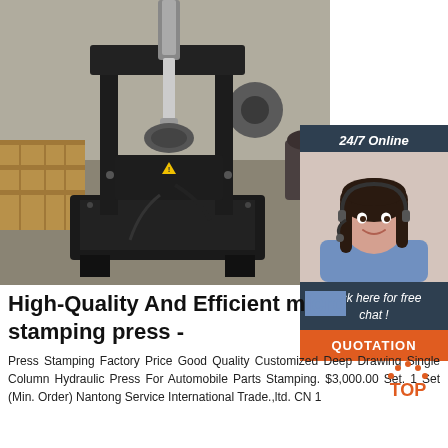[Figure (photo): Industrial hydraulic stamping press machine in a factory/warehouse setting, painted black, heavy machinery on a metal frame with hoses and hydraulic cylinder]
[Figure (photo): Customer service representative (woman with headset, smiling) with '24/7 Online' banner, 'Click here for free chat!' text, and orange QUOTATION button]
High-Quality And Efficient micro stamping press -
Press Stamping Factory Price Good Quality Customized Deep Drawing Single Column Hydraulic Press For Automobile Parts Stamping. $3,000.00 Set. 1 Set (Min. Order) Nantong Service International Trade.,ltd. CN 1